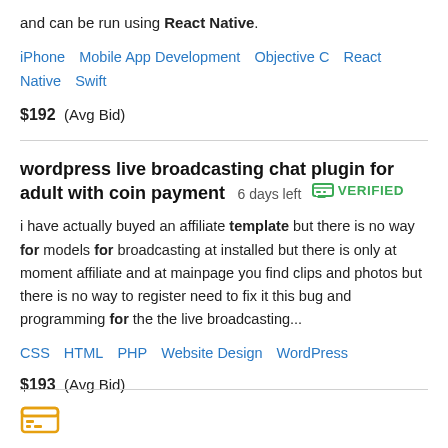and can be run using React Native.
iPhone   Mobile App Development   Objective C   React Native   Swift
$192  (Avg Bid)
wordpress live broadcasting chat plugin for adult with coin payment  6 days left  VERIFIED
i have actually buyed an affiliate template but there is no way for models for broadcasting at installed but there is only at moment affiliate and at mainpage you find clips and photos but there is no way to register need to fix it this bug and programming for the the live broadcasting...
CSS   HTML   PHP   Website Design   WordPress
$193  (Avg Bid)